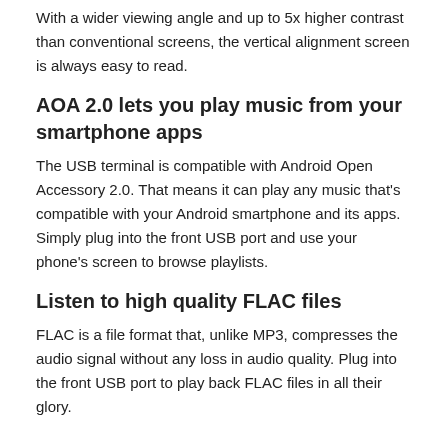With a wider viewing angle and up to 5x higher contrast than conventional screens, the vertical alignment screen is always easy to read.
AOA 2.0 lets you play music from your smartphone apps
The USB terminal is compatible with Android Open Accessory 2.0. That means it can play any music that's compatible with your Android smartphone and its apps. Simply plug into the front USB port and use your phone's screen to browse playlists.
Listen to high quality FLAC files
FLAC is a file format that, unlike MP3, compresses the audio signal without any loss in audio quality. Plug into the front USB port to play back FLAC files in all their glory.